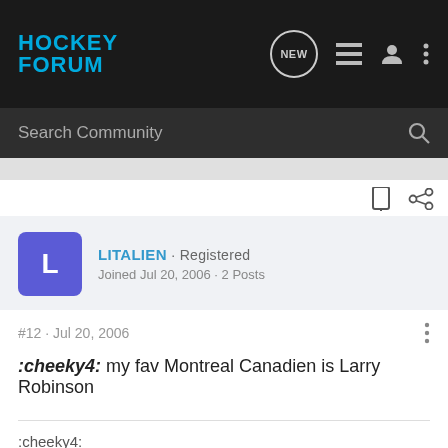HOCKEY FORUM
Search Community
LITALIEN · Registered
Joined Jul 20, 2006 · 2 Posts
#12 · Jul 20, 2006
:cheeky4: my fav Montreal Canadien is Larry Robinson
:cheeky4: